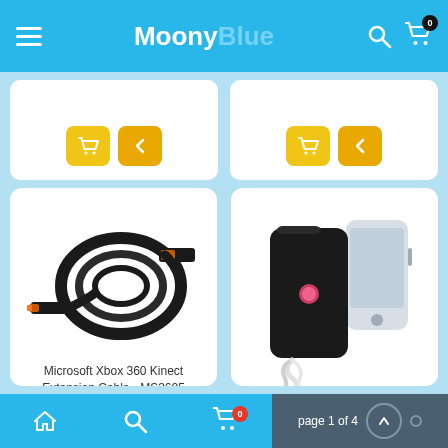MoonyBlue — navigation bar with hamburger menu, logo, search and cart icons
[Figure (screenshot): Top partial product cards with yellow cart and back buttons (cropped)]
[Figure (photo): Microsoft Xbox 360 Kinect Extension Cable MS3605 — black USB extension cable coiled]
Microsoft Xbox 360 Kinect Extension Cable - MS3605
$19.99
[Figure (photo): Black Retro Telephone Phone X Phone IPhone Smartphone Dock Station Headset Headphone — black dock with coiled white cable and iPhone]
Black Retro Telephone Phone X Phone IPhone Smartphone Dock Station Headset Headphone
$29.98
page 1 of 4